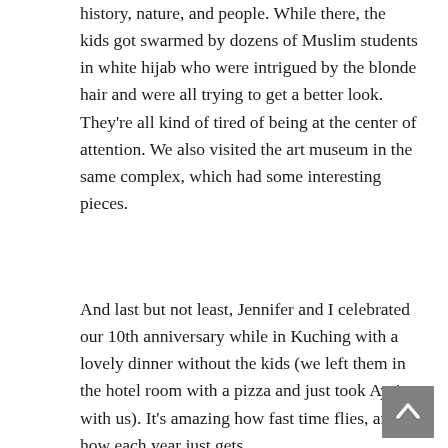history, nature, and people. While there, the kids got swarmed by dozens of Muslim students in white hijab who were intrigued by the blonde hair and were all trying to get a better look. They're all kind of tired of being at the center of attention. We also visited the art museum in the same complex, which had some interesting pieces.
And last but not least, Jennifer and I celebrated our 10th anniversary while in Kuching with a lovely dinner without the kids (we left them in the hotel room with a pizza and just took Aysia with us). It's amazing how fast time flies, and how each year just gets